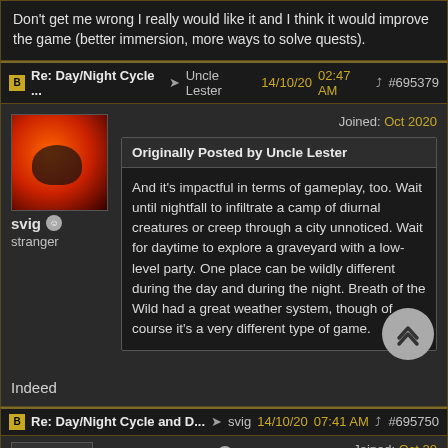Don't get me wrong I really would like it and I think it would improve the game (better immersion, more ways to solve quests).
Re: Day/Night Cycle ... → Uncle Lester 14/10/20 02:47 AM #695379
svig
stranger
Joined: Oct 2020
Originally Posted by Uncle Lester
And it's impactful in terms of gameplay, too. Wait until nightfall to infiltrate a camp of diurnal creatures or creep through a city unnoticed. Wait for daytime to explore a graveyard with a low-level party. One place can be wildly different during the day and during the night. Breath of the Wild had a great weather system, though of course it's a very different type of game.
Indeed
Re: Day/Night Cycle and D... → svig 14/10/20 07:41 AM #695750
HYPERBOLOSO
Joined: Oct 20